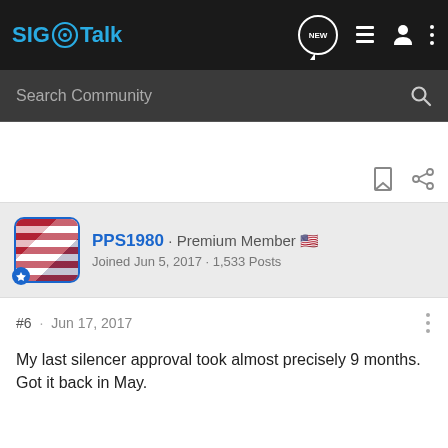SIG Talk
Search Community
PPS1980 · Premium Member · Joined Jun 5, 2017 · 1,533 Posts
#6 · Jun 17, 2017
My last silencer approval took almost precisely 9 months. Got it back in May.